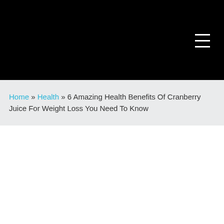Home » Health » 6 Amazing Health Benefits Of Cranberry Juice For Weight Loss You Need To Know